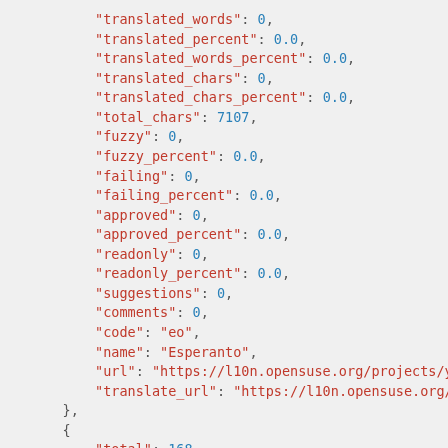"translated_words": 0,
"translated_percent": 0.0,
"translated_words_percent": 0.0,
"translated_chars": 0,
"translated_chars_percent": 0.0,
"total_chars": 7107,
"fuzzy": 0,
"fuzzy_percent": 0.0,
"failing": 0,
"failing_percent": 0.0,
"approved": 0,
"approved_percent": 0.0,
"readonly": 0,
"readonly_percent": 0.0,
"suggestions": 0,
"comments": 0,
"code": "eo",
"name": "Esperanto",
"url": "https://l10n.opensuse.org/projects/yas
"translate_url": "https://l10n.opensuse.org/tr
},
{
    "total": 168,
    "total_words": 1090,
    "last_change": "2022-02-18T13:10:01.384541Z",
    "recent_changes": 1,